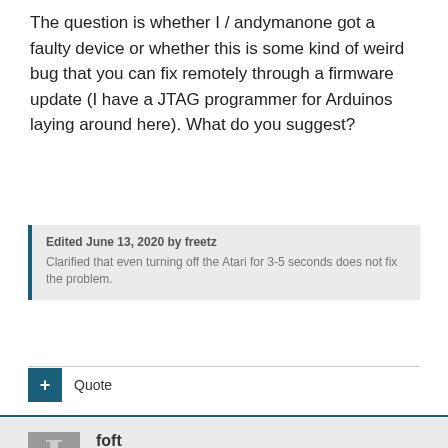The question is whether I / andymanone got a faulty device or whether this is some kind of weird bug that you can fix remotely through a firmware update (I have a JTAG programmer for Arduinos laying around here). What do you suggest?
Edited June 13, 2020 by freetz
Clarified that even turning off the Atari for 3-5 seconds does not fix the problem.
+ Quote
foft
Posted June 13, 2020